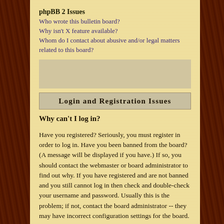phpBB 2 Issues
Who wrote this bulletin board?
Why isn't X feature available?
Whom do I contact about abusive and/or legal matters related to this board?
[Figure (other): Gray shaded box placeholder area]
Login and Registration Issues
Why can't I log in?
Have you registered? Seriously, you must register in order to log in. Have you been banned from the board? (A message will be displayed if you have.) If so, you should contact the webmaster or board administrator to find out why. If you have registered and are not banned and you still cannot log in then check and double-check your username and password. Usually this is the problem; if not, contact the board administrator -- they may have incorrect configuration settings for the board.
Back to top
Why do I need to register at all?